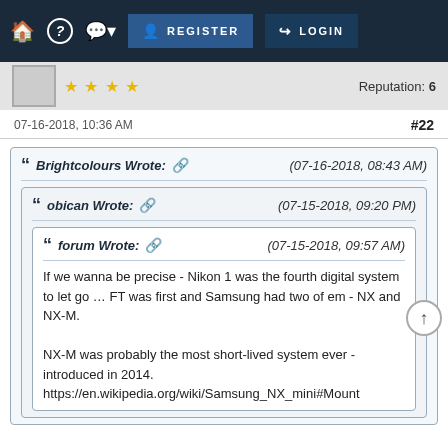REGISTER  LOGIN
Reputation: 6
07-16-2018, 10:36 AM   #22
Brightcolours Wrote: (07-16-2018, 08:43 AM)
obican Wrote: (07-15-2018, 09:20 PM)
forum Wrote: (07-15-2018, 09:57 AM)
If we wanna be precise - Nikon 1 was the fourth digital system to let go … FT was first and Samsung had two of em - NX and NX-M.

NX-M was probably the most short-lived system ever - introduced in 2014. https://en.wikipedia.org/wiki/Samsung_NX_mini#Mount